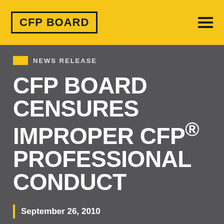CFP BOARD
NEWS RELEASE
CFP BOARD CENSURES IMPROPER CFP® PROFESSIONAL CONDUCT
September 26, 2010